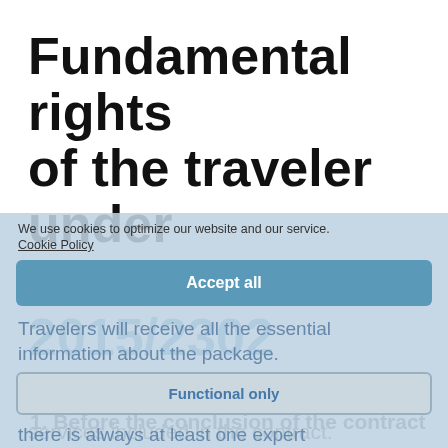Fundamental rights of the traveler under the EU Decree 2015/2302
We use cookies to optimize our website and our service.
Cookie Policy
Accept all
Functional only
1. Before the conclusion of the contract
Travelers will receive all the essential information about the package.
there is always at least one expert
onsible for the proper
plementation of all the tourist
View preferences
services included in the contract.